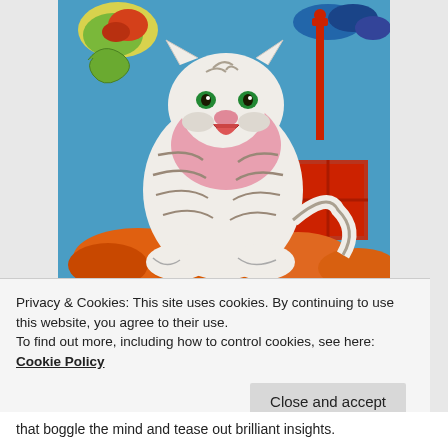[Figure (illustration): Korean folk art painting of a white tiger with pink accents, green eyes, and black stripes, sitting on orange rocks against a bright blue sky background with colorful clouds and decorative elements.]
Privacy & Cookies: This site uses cookies. By continuing to use this website, you agree to their use.
To find out more, including how to control cookies, see here: Cookie Policy
Close and accept
that boggle the mind and tease out brilliant insights.